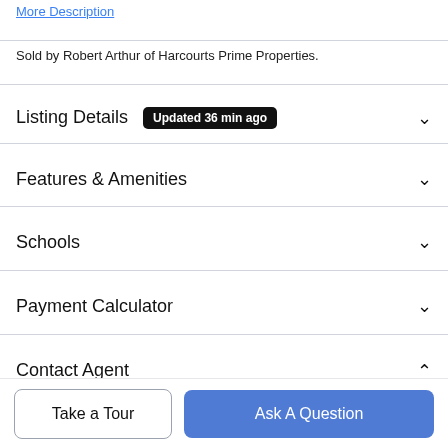More Description
Sold by Robert Arthur of Harcourts Prime Properties.
Listing Details  Updated 36 min ago
Features & Amenities
Schools
Payment Calculator
Contact Agent
[Figure (photo): Photo of a real estate agent (woman with dark hair, wearing dark clothing)]
Take a Tour
Ask A Question